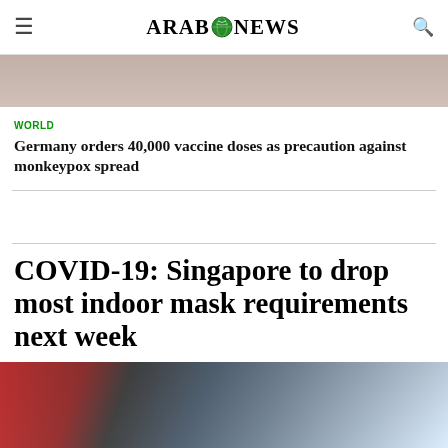ARAB NEWS
[Figure (photo): Top portion of an article image, partially visible]
WORLD
Germany orders 40,000 vaccine doses as precaution against monkeypox spread
COVID-19: Singapore to drop most indoor mask requirements next week
[Figure (photo): Street scene with people wearing masks, Singapore market area]